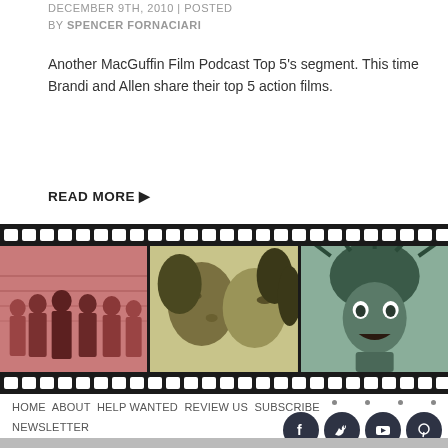DECEMBER 9TH, 2010 | POSTED BY SPENCER FORNACIARI
Another MacGuffin Film Podcast Top 5's segment. This time Brandi and Allen share their top 5 action films.
READ MORE ▶
[Figure (illustration): Film strip graphic with three illustrated movie stills: left panel shows a group of men in suits (pink/salmon tint), center panel shows two people about to kiss (olive/yellow tint), right panel shows a wild-haired person (teal/green tint). Black film strip borders with white sprocket holes top and bottom.]
HOME  ABOUT  HELP WANTED  REVIEW US  SUBSCRIBE  NEWSLETTER
© 2009-2022 The MacGuffin  |  Privacy Policy